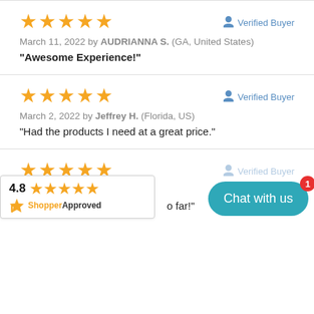★★★★★   Verified Buyer
March 11, 2022 by AUDRIANNA S. (GA, United States)
"Awesome Experience!"
★★★★★   Verified Buyer
March 2, 2022 by Jeffrey H. (Florida, US)
"Had the products I need at a great price."
★★★★★   Verified Buyer
Kyle W. (California, U...
...o far!
4.8 ★★★★★
ShopperApproved
Chat with us